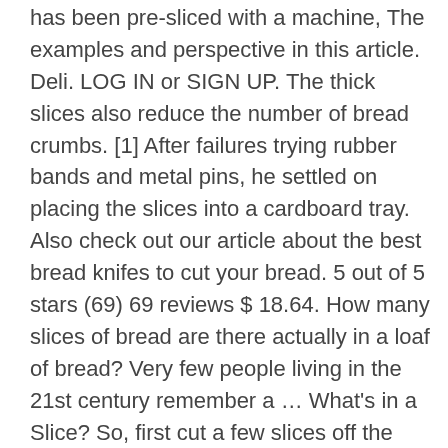has been pre-sliced with a machine, The examples and perspective in this article. Deli. LOG IN or SIGN UP. The thick slices also reduce the number of bread crumbs. [1] After failures trying rubber bands and metal pins, he settled on placing the slices into a cardboard tray. Also check out our article about the best bread knifes to cut your bread. 5 out of 5 stars (69) 69 reviews $ 18.64. How many slices of bread are there actually in a loaf of bread? Very few people living in the 21st century remember a … What's in a Slice? So, first cut a few slices off the right and left sides, and put them aside. creamy banana pecan pie. If you are in the bread business or you just want to slice bread easily, a quality bread slicer may be a very handy tool to have in your kitchen. If you include the end pieces of the loaf, commonly known as the 'heels', a standard loaf of bread can contain up to 26 slices. Eat in slice of bread. b. Slicing bread